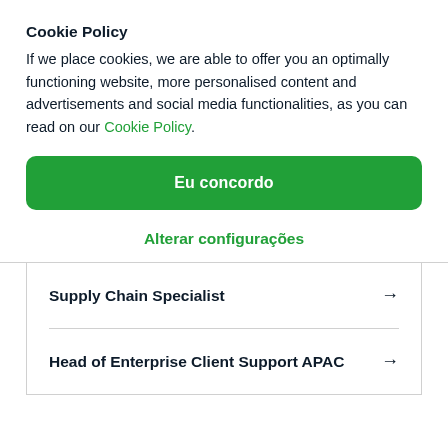Cookie Policy
If we place cookies, we are able to offer you an optimally functioning website, more personalised content and advertisements and social media functionalities, as you can read on our Cookie Policy.
Eu concordo
Alterar configurações
Supply Chain Specialist →
Head of Enterprise Client Support APAC →